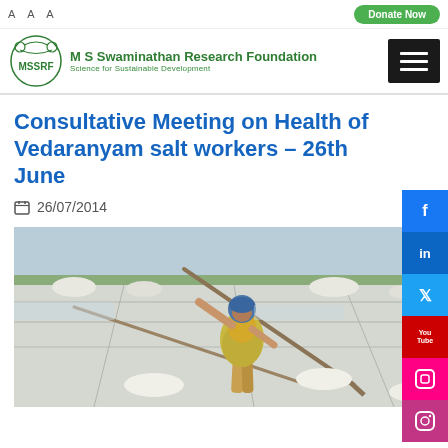M S Swaminathan Research Foundation — Science for Sustainable Development
Consultative Meeting on Health of Vedaranyam salt workers – 26th June
26/07/2014
[Figure (photo): A woman salt worker wearing a blue head covering and yellow-green patterned sari, using a long rake/hoe to work salt pans at Vedaranyam. White salt piles visible in background with flat salt pan landscape stretching to the horizon.]